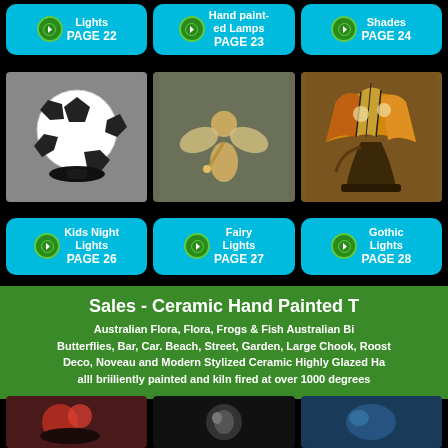Lights PAGE 22
Hand painted Lamps PAGE 23
Shades PAGE 24
[Figure (photo): Soccer ball shaped night light on black stand]
[Figure (photo): Gold fairy figurine statue]
[Figure (photo): Tiffany-style stained glass table lamp on ornate metal base]
Kids Night Lights PAGE 26
Fairy Lights PAGE 27
Gothic Lights PAGE 28
Sales - Ceramic Hand Painted T
Australian Flora, Flora, Frogs & Fish Australian Bi Butterflies, Bar, Car. Beach, Street, Garden, Large Chook, Roost Deco, Noveau and Modern Stylized Ceramic Highly Glazed Ha alll briiliently painted and kiln fired at over 1000 degrees
[Figure (photo): Bottom left product photo - red floral ceramic]
[Figure (photo): Bottom center product photo - dark ceramic]
[Figure (photo): Bottom right product photo - blue ceramic]